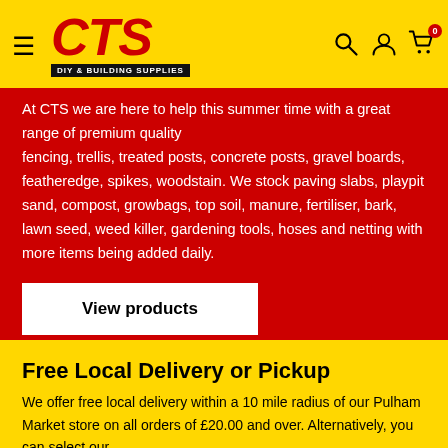CTS DIY & BUILDING SUPPLIES — navigation header with logo, hamburger menu, search, account, and cart icons
At CTS we are here to help this summer time with a great range of premium quality fencing, trellis, treated posts, concrete posts, gravel boards, featheredge, spikes, woodstain. We stock paving slabs, playpit sand, compost, growbags, top soil, manure, fertiliser, bark, lawn seed, weed killer, gardening tools, hoses and netting with more items being added daily.
View products
Free Local Delivery or Pickup
We offer free local delivery within a 10 mile radius of our Pulham Market store on all orders of £20.00 and over. Alternatively, you can select our free Local Pickup service.